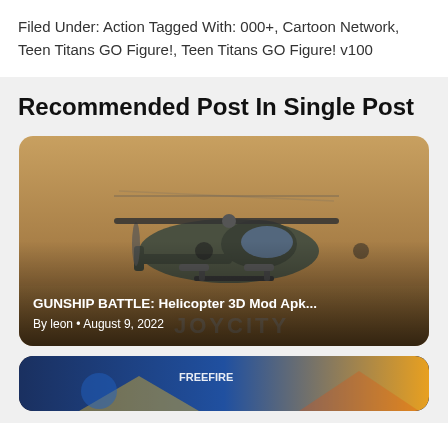Filed Under: Action Tagged With: 000+, Cartoon Network, Teen Titans GO Figure!, Teen Titans GO Figure! v100
Recommended Post In Single Post
[Figure (photo): Military helicopter (Apache-style gunship) in flight against a dusty orange sky, with JOYCITY watermark. Card shows title 'GUNSHIP BATTLE: Helicopter 3D Mod Apk...' and metadata 'By leon • August 9, 2022']
[Figure (photo): Partial view of a second card showing a Free Fire game image at the bottom of the page]